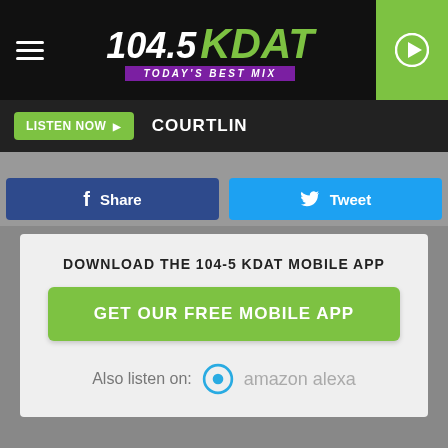[Figure (logo): 104.5 KDAT Today's Best Mix radio station logo with hamburger menu and play button]
LISTEN NOW  COURTLIN
[Figure (infographic): Facebook Share button and Twitter Tweet button side by side]
DOWNLOAD THE 104-5 KDAT MOBILE APP
GET OUR FREE MOBILE APP
Also listen on:  amazon alexa